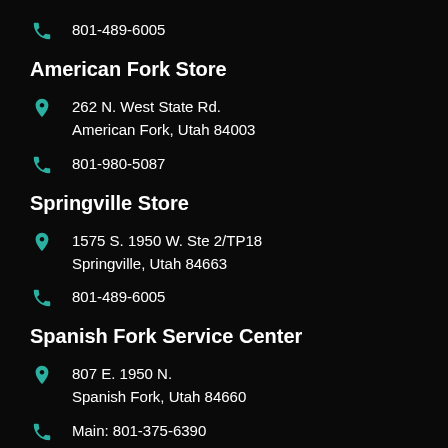801-489-6005
American Fork Store
262 N. West State Rd.
American Fork, Utah 84003
801-980-5087
Springville Store
1575 S. 1950 W. Ste 2/TP18
Springville, Utah 84663
801-489-6005
Spanish Fork Service Center
807 E. 1950 N.
Spanish Fork, Utah 84660
Main: 801-375-6390